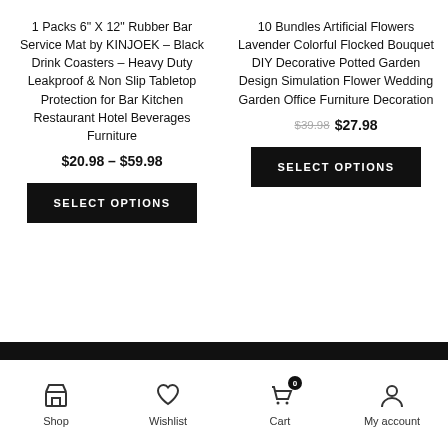1 Packs 6" X 12" Rubber Bar Service Mat by KINJOEK – Black Drink Coasters – Heavy Duty Leakproof & Non Slip Tabletop Protection for Bar Kitchen Restaurant Hotel Beverages Furniture
$20.98 – $59.98
SELECT OPTIONS
10 Bundles Artificial Flowers Lavender Colorful Flocked Bouquet DIY Decorative Potted Garden Design Simulation Flower Wedding Garden Office Furniture Decoration
$39.98 $27.98
SELECT OPTIONS
Shop  Wishlist  Cart  My account